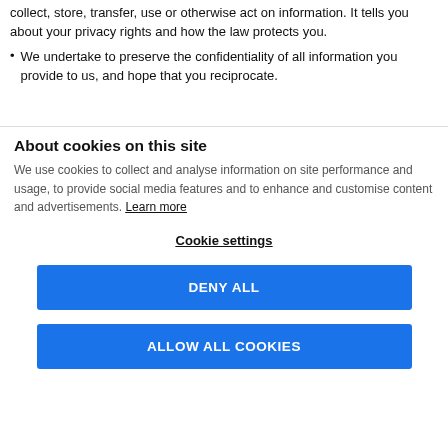collect, store, transfer, use or otherwise act on information. It tells you about your privacy rights and how the law protects you.
We undertake to preserve the confidentiality of all information you provide to us, and hope that you reciprocate.
About cookies on this site
We use cookies to collect and analyse information on site performance and usage, to provide social media features and to enhance and customise content and advertisements. Learn more
Cookie settings
DENY ALL
ALLOW ALL COOKIES